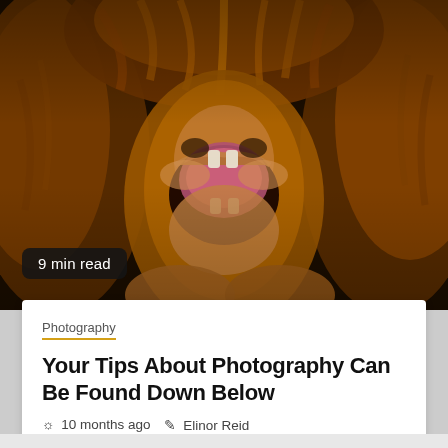[Figure (photo): Close-up photograph of a lion with mouth open roaring, showing teeth, with thick brown mane fur filling most of the frame, dark background]
9 min read
Photography
Your Tips About Photography Can Be Found Down Below
10 months ago  Elinor Reid
Photography can be one of the hardest art forms to master as it requires a great deal of hard work....